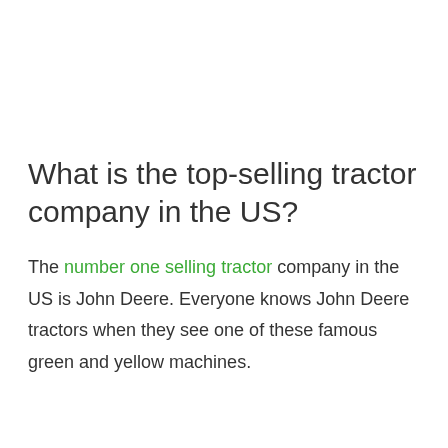What is the top-selling tractor company in the US?
The number one selling tractor company in the US is John Deere. Everyone knows John Deere tractors when they see one of these famous green and yellow machines.